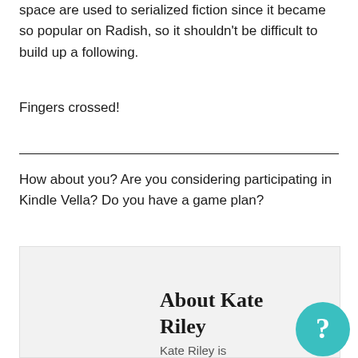space are used to serialized fiction since it became so popular on Radish, so it shouldn't be difficult to build up a following.
Fingers crossed!
How about you? Are you considering participating in Kindle Vella? Do you have a game plan?
About Kate Riley